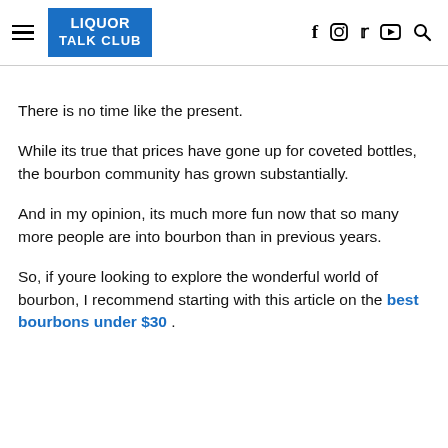LIQUOR TALK CLUB — navigation header with hamburger menu, logo, and social icons (f, Instagram, Twitter, YouTube, Search)
There is no time like the present.
While its true that prices have gone up for coveted bottles, the bourbon community has grown substantially.
And in my opinion, its much more fun now that so many more people are into bourbon than in previous years.
So, if youre looking to explore the wonderful world of bourbon, I recommend starting with this article on the best bourbons under $30 .